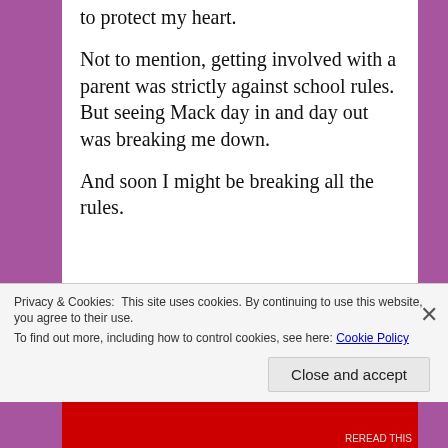to protect my heart.
Not to mention, getting involved with a parent was strictly against school rules. But seeing Mack day in and day out was breaking me down.
And soon I might be breaking all the rules.
Author's note – Told in alternating points of view, Mack Daddy is a full-length standalone novel.
Privacy & Cookies: This site uses cookies. By continuing to use this website, you agree to their use.
To find out more, including how to control cookies, see here: Cookie Policy